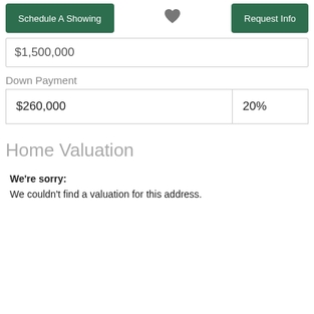Schedule A Showing | [heart] | Request Info
$1,500,000
Down Payment
| $260,000 | 20% |
Home Valuation
We're sorry:
We couldn't find a valuation for this address.